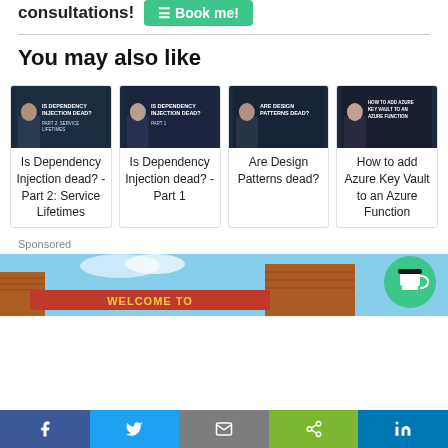consultations?
Book me!
You may also like
[Figure (screenshot): Card image for 'Is Dependency Injection dead? - Part 2: Service Lifetimes' with dark background and person]
Is Dependency Injection dead? - Part 2: Service Lifetimes
[Figure (screenshot): Card image for 'Is Dependency Injection dead? - Part 1' with dark background and person]
Is Dependency Injection dead? - Part 1
[Figure (screenshot): Card image for 'Are Design Patterns dead?' with dark background and person]
Are Design Patterns dead?
[Figure (screenshot): Card image for 'How to add Azure Key Vault to an Azure Function' with dark background and person]
How to add Azure Key Vault to an Azure Function
Sponsored
[Figure (photo): Sponsored banner showing a brick building with 'WELCOME TO' sign and a Buy Me a Coffee button]
WELCOME TO